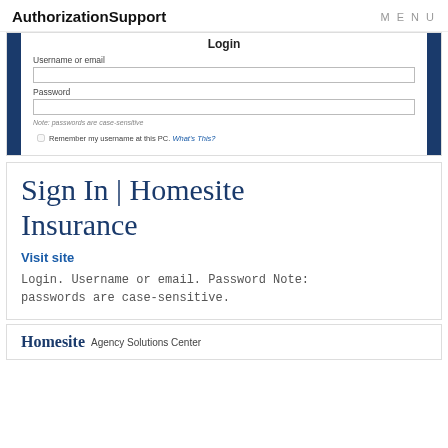AuthorizationSupport   MENU
Login
Username or email
Password
Note: passwords are case-sensitive
Remember my username at this PC. What's This?
Sign In | Homesite Insurance
Visit site
Login. Username or email. Password Note: passwords are case-sensitive.
[Figure (logo): Homesite Agency Solutions Center logo]